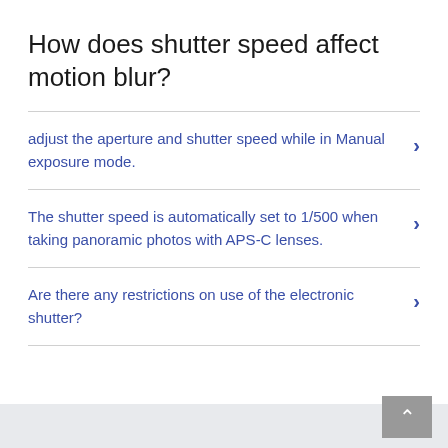How does shutter speed affect motion blur?
adjust the aperture and shutter speed while in Manual exposure mode.
The shutter speed is automatically set to 1/500 when taking panoramic photos with APS-C lenses.
Are there any restrictions on use of the electronic shutter?